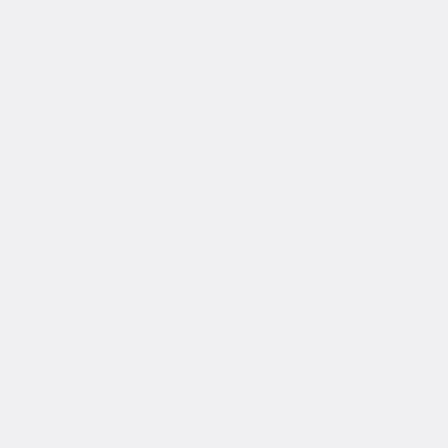[Figure (engineering-diagram): Traffic signal diagram sequence item 18: pole-mounted traffic light with red top light illuminated, red and green arrow signals below, and overhead hanging signal showing red top with lower greens, plus a sign reading 'ONN' or similar]
18
[Figure (engineering-diagram): Traffic signal diagram sequence item 19: pole-mounted traffic light with red top and yellow middle illuminated, red and green arrow signals below, and overhead hanging signal showing red top, plus a sign]
19
[Figure (engineering-diagram): Traffic signal diagram sequence item 20: pole-mounted traffic light with red top illuminated, overhead hanging signal showing red top, plus a sign]
20